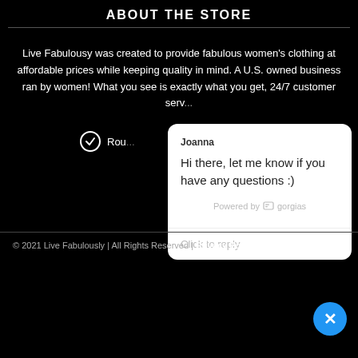ABOUT THE STORE
Live Fabulousy was created to provide fabulous women's clothing at affordable prices while keeping quality in mind. A U.S. owned business ran by women! What you see is exactly what you get, 24/7 customer serv...
Rou...
[Figure (screenshot): Chat popup from Gorgias with agent name Joanna, message 'Hi there, let me know if you have any questions :)', powered by gorgias label, and 'Click to reply' input area]
© 2021 Live Fabulously | All Rights Reserved | Privacy Policy